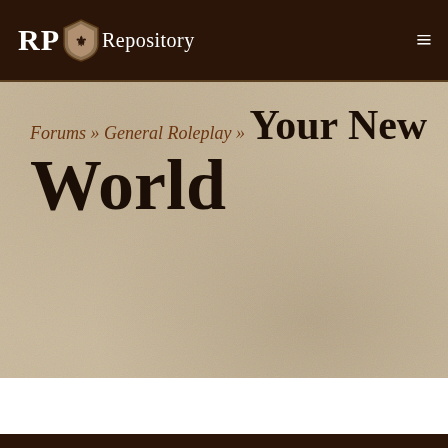RP Repository
Forums » General Roleplay » Your New World
‹ 1 2 ›
All   IC Only   OOC Only
Collapsed OOC chatter